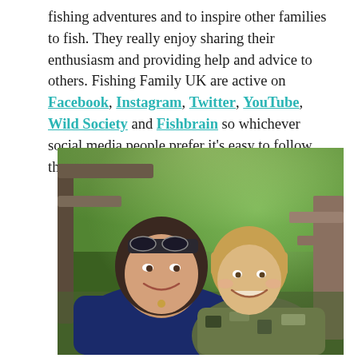fishing adventures and to inspire other families to fish. They really enjoy sharing their enthusiasm and providing help and advice to others. Fishing Family UK are active on Facebook, Instagram, Twitter, YouTube, Wild Society and Fishbrain so whichever social media people prefer it's easy to follow their adventures. Here are their top tips...
[Figure (photo): A smiling woman with sunglasses on her head wearing a dark blue jacket, posed cheek-to-cheek with a young blonde boy in a patterned jacket, outdoors with green foliage in the background.]